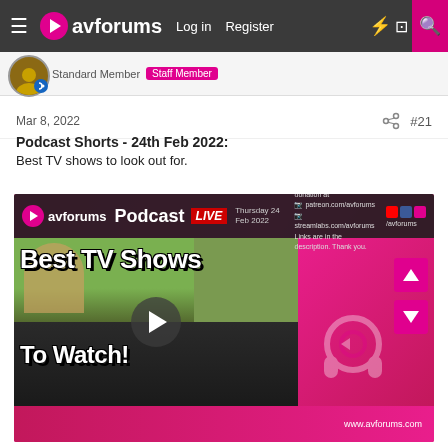avforums — Log in  Register
Standard Member  Staff Member
Mar 8, 2022  #21
Podcast Shorts - 24th Feb 2022:
Best TV shows to look out for.
[Figure (screenshot): avforums Podcast LIVE video thumbnail dated Thursday 24 Feb 2022, showing 'Best TV Shows To Watch!' text overlay on a collage of people, with pink branded sidebar and navigation arrows. URL: www.avforums.com]